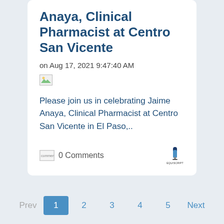Anaya, Clinical Pharmacist at Centro San Vicente
on Aug 17, 2021 9:47:40 AM
[Figure (photo): Broken/missing image placeholder]
Please join us in celebrating Jaime Anaya, Clinical Pharmacist at Centro San Vicente in El Paso,..
commentIcon  0 Comments
[Figure (logo): Small logo icon with text below]
Prev  1  2  3  4  5  Next